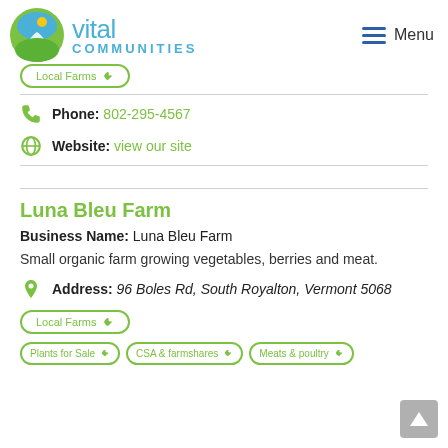[Figure (logo): Vital Communities logo with circular green/blue globe icon, teal 'vital' text and 'COMMUNITIES' in teal capitals]
Local Farms (tag button)
Phone: 802-295-4567
Website: view our site
Luna Bleu Farm
Business Name: Luna Bleu Farm
Small organic farm growing vegetables, berries and meat.
Address: 96 Boles Rd, South Royalton, Vermont 5068
Local Farms
Plants for Sale
CSA & farmshares
Meats & poultry